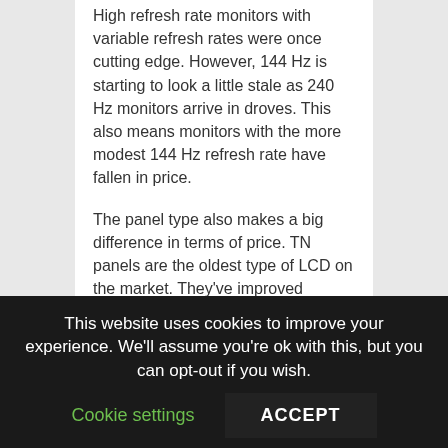High refresh rate monitors with variable refresh rates were once cutting edge. However, 144 Hz is starting to look a little stale as 240 Hz monitors arrive in droves. This also means monitors with the more modest 144 Hz refresh rate have fallen in price.
The panel type also makes a big difference in terms of price. TN panels are the oldest type of LCD on the market. They've improved considerably since they were first introduced. However, they still suffer from less-than-favorable color accuracy, disappointing viewing angles, and washed-out blacks.
They're also the cheapest of all the panel types. Since LG hit the one-millisecond barrier in its UltraGear IPS monitor in 2019, TN panels are no longer the only choice for competitive gamers. You
This website uses cookies to improve your experience. We'll assume you're ok with this, but you can opt-out if you wish.
Cookie settings
ACCEPT